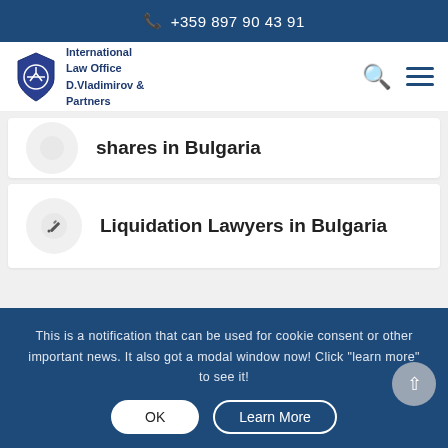+359 897 90 43 91
[Figure (logo): International Law Office D.Vladimirov & Partners shield logo with scales of justice]
shares in Bulgaria
Liquidation Lawyers in Bulgaria
This is a notification that can be used for cookie consent or other important news. It also got a modal window now! Click "learn more" to see it!
OK  Learn More